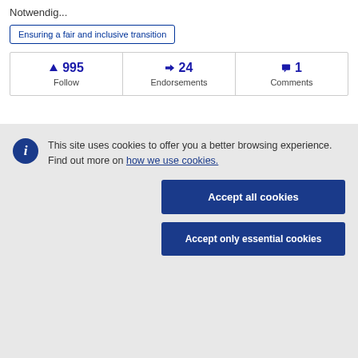Notwendig...
Ensuring a fair and inclusive transition
| Follow | Endorsements | Comments |
| --- | --- | --- |
| ▲ 995 | ◀◀ 24 | ■ 1 |
This site uses cookies to offer you a better browsing experience. Find out more on how we use cookies.
Accept all cookies
Accept only essential cookies